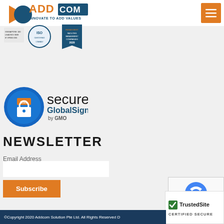[Figure (logo): ADDCOM logo with triangle and text 'ADDCOM INNOVATE TO ADD VALUES' with ISO certification badges]
[Figure (logo): Orange hamburger/menu button in top right corner]
[Figure (logo): SSL Secure GlobalSign by GMO badge]
NEWSLETTER
Email Address
Subscribe
[Figure (logo): reCAPTCHA widget partial view]
[Figure (logo): TrustedSite CERTIFIED SECURE badge]
©Copyright 2020 Addcom Solution Pte Ltd. All Rights Reserved D